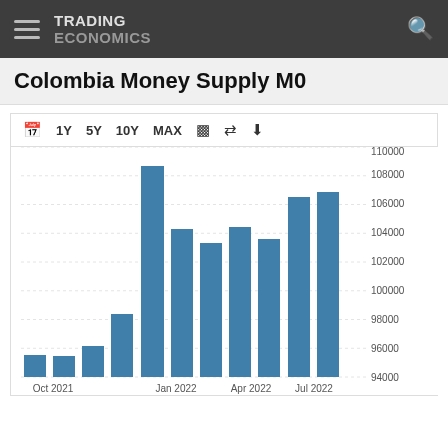TRADING ECONOMICS
Colombia Money Supply M0
[Figure (bar-chart): Colombia Money Supply M0]